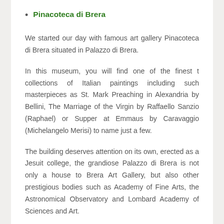Pinacoteca di Brera
We started our day with famous art gallery Pinacoteca di Brera situated in Palazzo di Brera.
In this museum, you will find one of the finest t collections of Italian paintings including such masterpieces as St. Mark Preaching in Alexandria by Bellini, The Marriage of the Virgin by Raffaello Sanzio (Raphael) or Supper at Emmaus by Caravaggio (Michelangelo Merisi) to name just a few.
The building deserves attention on its own, erected as a Jesuit college, the grandiose Palazzo di Brera is not only a house to Brera Art Gallery, but also other prestigious bodies such as Academy of Fine Arts, the Astronomical Observatory and Lombard Academy of Sciences and Art.
The palace is organized around an elegant rectangular